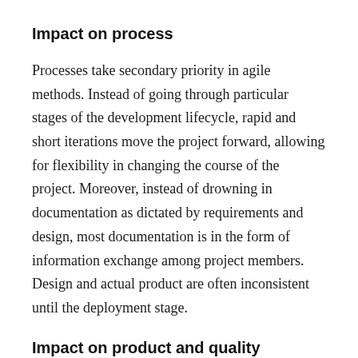Impact on process
Processes take secondary priority in agile methods. Instead of going through particular stages of the development lifecycle, rapid and short iterations move the project forward, allowing for flexibility in changing the course of the project. Moreover, instead of drowning in documentation as dictated by requirements and design, most documentation is in the form of information exchange among project members. Design and actual product are often inconsistent until the deployment stage.
Impact on product and quality
Instead of delivering software that has all the knots and bolts in place according to its original design, the highest